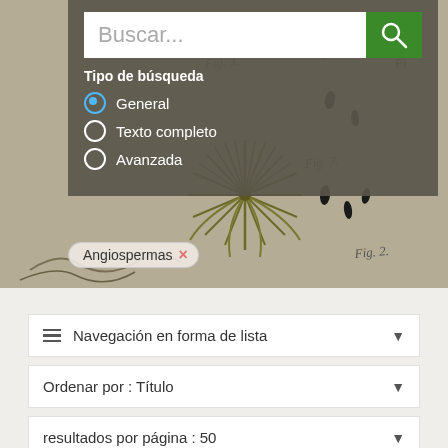[Figure (screenshot): Botanical illustration background showing plant specimens with cursive labels (Fig. 2, Fig. 3, Fig. 6, Fig. 7) on a warm gray-beige background. A spiky star-shaped plant (palm or similar) is visible in the center-left.]
Buscar...
Tipo de búsqueda
General
Texto completo
Avanzada
Angiospermas ×
Navegación en forma de lista
Ordenar por : Título
resultados por página : 50